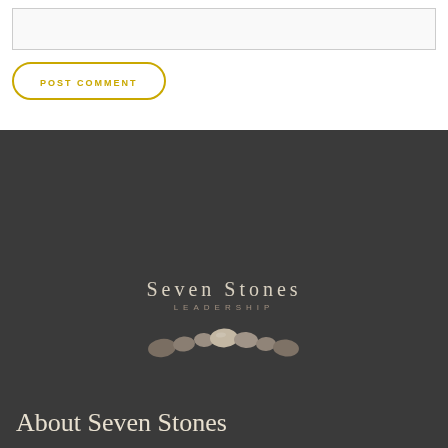[Figure (other): Empty comment text input box]
POST COMMENT
[Figure (logo): Seven Stones Leadership logo with text 'SEVEN STONES' in serif font, 'LEADERSHIP' in spaced caps below, and seven decorative stone pebbles arranged in a row]
About Seven Stones
Seven Stones is a leadership journeys company founded in 2009 by Gina LaRoche and Jennifer Cohen. Our learning programs, coaching practice, organizational consulting engagements and groundbreaking thought leadership work are all designed to help bring about a world that is loving, courageous and just.